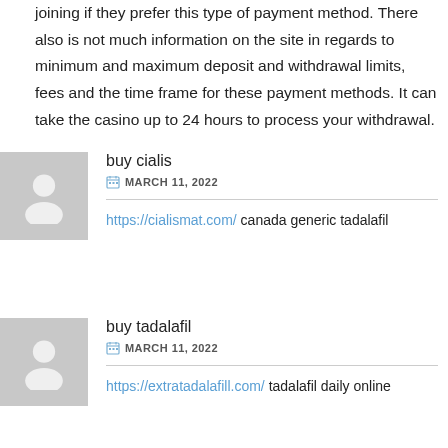joining if they prefer this type of payment method. There also is not much information on the site in regards to minimum and maximum deposit and withdrawal limits, fees and the time frame for these payment methods. It can take the casino up to 24 hours to process your withdrawal.
buy cialis
MARCH 11, 2022
https://cialismat.com/ canada generic tadalafil
buy tadalafil
MARCH 11, 2022
https://extratadalafill.com/ tadalafil daily online